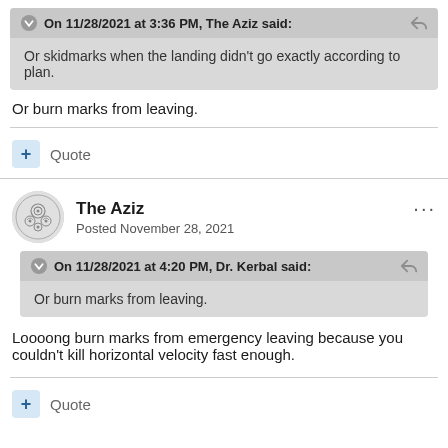On 11/28/2021 at 3:36 PM, The Aziz said:
Or skidmarks when the landing didn't go exactly according to plan.
Or burn marks from leaving.
Quote
The Aziz
Posted November 28, 2021
On 11/28/2021 at 4:20 PM, Dr. Kerbal said:
Or burn marks from leaving.
Loooong burn marks from emergency leaving because you couldn't kill horizontal velocity fast enough.
Quote